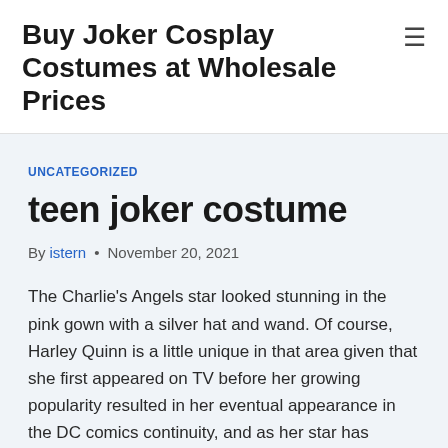Buy Joker Cosplay Costumes at Wholesale Prices
UNCATEGORIZED
teen joker costume
By istern • November 20, 2021
The Charlie's Angels star looked stunning in the pink gown with a silver hat and wand. Of course, Harley Quinn is a little unique in that area given that she first appeared on TV before her growing popularity resulted in her eventual appearance in the DC comics continuity, and as her star has